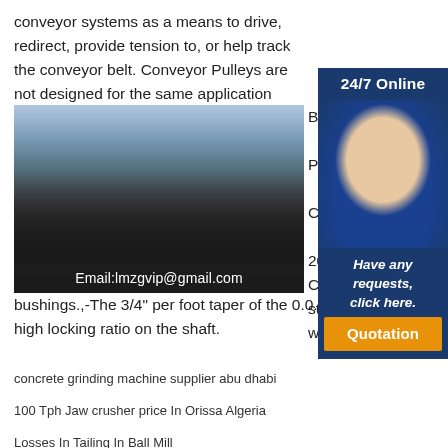conveyor systems as a means to drive, redirect, provide tension to, or help track the conveyor belt. Conveyor Pulleys are not designed for the same application intent as conveyor rollers.
[Figure (photo): Industrial conveyor/mining machinery equipment outdoors with overlay text 'Email:lmzgvip@gmail.com']
Belt
Pull
Con
2018
Con
steel
with
bushings.,-The 3/4" per foot taper of the 0.0. provides a high locking ratio on the shaft.
[Figure (infographic): 24/7 Online sidebar with customer service representative photo and 'Have any requests, click here.' text and Quotation button]
concrete grinding machine supplier abu dhabi
100 Tph Jaw crusher price In Orissa Algeria
Losses In Tailing In Ball Mill